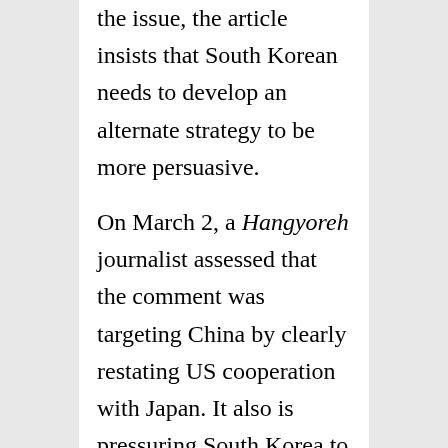the issue, the article insists that South Korean needs to develop an alternate strategy to be more persuasive.
On March 2, a Hangyoreh journalist assessed that the comment was targeting China by clearly restating US cooperation with Japan. It also is pressuring South Korea to stand more firmly on that side of the alliance